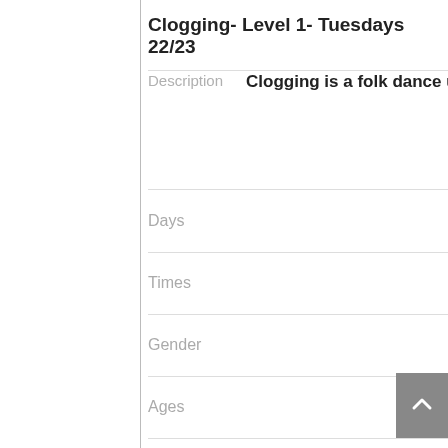Clogging- Level 1- Tuesdays 22/23
Description   Clogging is a folk dance usually perfo
Days
Times
Gender
Ages
Openings
Class Starts
Class Ends